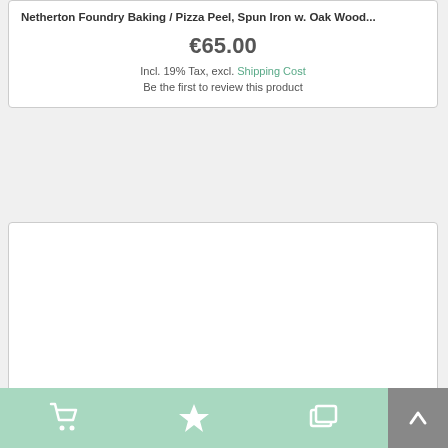Netherton Foundry Baking / Pizza Peel, Spun Iron w. Oak Wood...
€65.00
Incl. 19% Tax, excl. Shipping Cost
Be the first to review this product
[Figure (photo): Black protective cover for a Uuni pizza oven, draped over the oven body with the chimney pipe visible sticking up from the top. The cover is made of dark fabric and branded with 'uuni' logo on the side.]